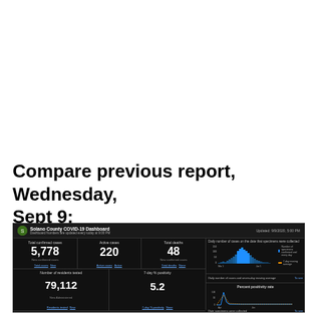Compare previous report, Wednesday, Sept 9:
[Figure (screenshot): Screenshot of Solano County COVID-19 Dashboard updated 9/9/2020 5:00 PM showing Total confirmed cases 5,778, Active cases 220, Total deaths 48, Number of residents tested 79,112, 7-day % positivity 5.2, Hospital Impact section with Currently hospitalized, ICU Beds Available, Ventilators Available, and charts for daily number of cases and percent positivity]